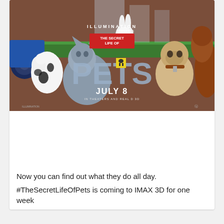[Figure (illustration): Movie poster for 'The Secret Life of Pets' by Illumination. Shows animated pet characters from behind — a spotted dog, a grey cat, a white rabbit, a brown dog, and a pug — all seated and looking at a city scene. Text reads 'ILLUMINATION PRESENTS THE SECRET LIFE OF PETS JULY 8 IN THEATERS AND REAL D 3D'.]
Now you can find out what they do all day.
#TheSecretLifeOfPets is coming to IMAX 3D for one week